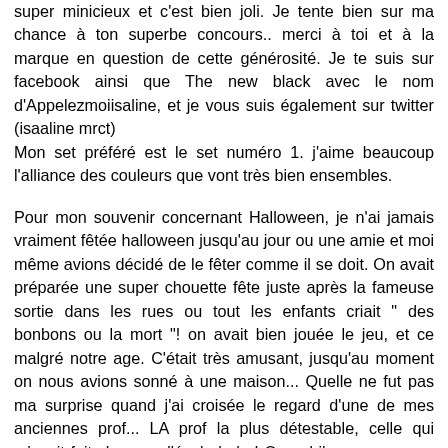super minicieux et c'est bien joli. Je tente bien sur ma chance à ton superbe concours.. merci à toi et à la marque en question de cette générosité. Je te suis sur facebook ainsi que The new black avec le nom d'Appelezmoiisaline, et je vous suis également sur twitter (isaaline mrct)
Mon set préféré est le set numéro 1. j'aime beaucoup l'alliance des couleurs que vont très bien ensembles.
Pour mon souvenir concernant Halloween, je n'ai jamais vraiment fêtée halloween jusqu'au jour ou une amie et moi même avions décidé de le fêter comme il se doit. On avait préparée une super chouette fête juste après la fameuse sortie dans les rues ou tout les enfants criait " des bonbons ou la mort "! on avait bien jouée le jeu, et ce malgré notre age. C'était très amusant, jusqu'au moment on nous avions sonné à une maison... Quelle ne fut pas ma surprise quand j'ai croisée le regard d'une de mes anciennes prof... LA prof la plus détestable, celle qui m'avait fait changer d'école haha! Quand j'y pense ça me fait bien rire, je me souviens encore de ma tête déconfite devant son pallier lui disant de me filer des bonbons sinon je la tuais haha :) ça, c'est vraiment un fameux souvenir que je me garde de cette